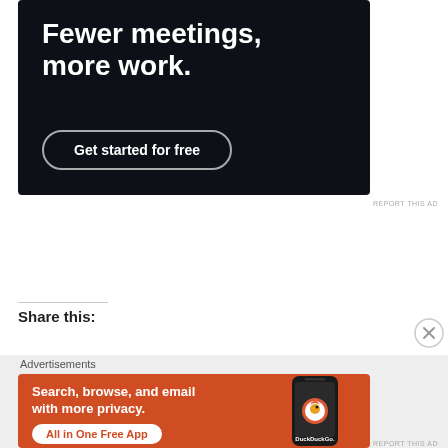[Figure (illustration): Dark-background advertisement with large white bold text 'Fewer meetings, more work.' and a rounded-rectangle button 'Get started for free']
REPORT THIS AD
Share this:
Advertisements
[Figure (illustration): DuckDuckGo orange advertisement: 'Search, browse, and email with more privacy. All in One Free App' with a phone showing DuckDuckGo logo]
REPORT THIS AD